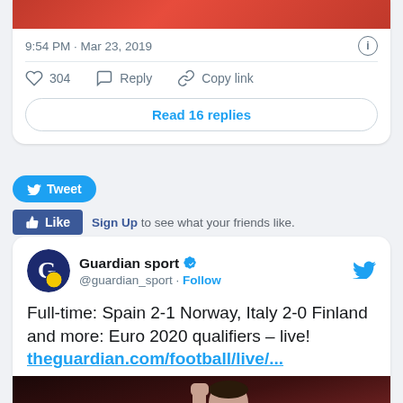[Figure (screenshot): Top portion of a tweet card showing a red/dark image at the top, timestamp '9:54 PM · Mar 23, 2019' with info icon, horizontal divider, like/reply/copy link actions, and a 'Read 16 replies' button]
[Figure (screenshot): Twitter 'Tweet' button (blue pill shape) and Facebook 'Like' button (blue) with 'Sign Up to see what your friends like.' text]
[Figure (screenshot): Guardian sport Twitter embed card with avatar, handle @guardian_sport, Follow link, Twitter bird icon, tweet text 'Full-time: Spain 2-1 Norway, Italy 2-0 Finland and more: Euro 2020 qualifiers – live! theguardian.com/football/live/...', and a photo of a footballer (Sergio Ramos) at the bottom]